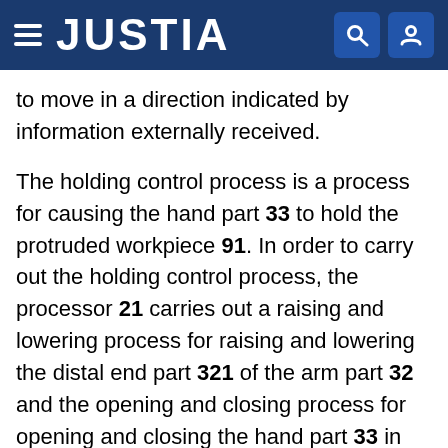JUSTIA
to move in a direction indicated by information externally received.
The holding control process is a process for causing the hand part 33 to hold the protruded workpiece 91. In order to carry out the holding control process, the processor 21 carries out a raising and lowering process for raising and lowering the distal end part 321 of the arm part 32 and the opening and closing process for opening and closing the hand part 33 in combination. The processor 21 transmits control information to the driving sections respectively configured to drive the coupling parts of the arm part 32, so as to carry out the raising and lowering process. The processor 21 transmits control information to driving sections respectively configured to drive the finger parts 332a and 332b, so as to carry out the opening and closing